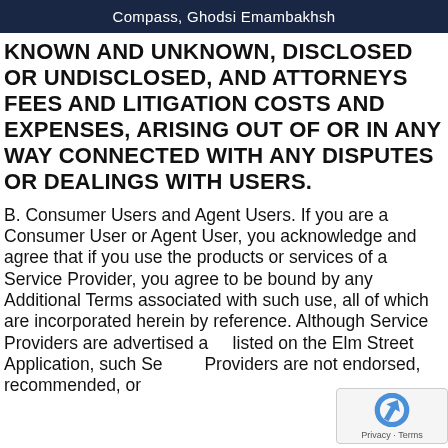Compass, Ghodsi Emambakhsh
KNOWN AND UNKNOWN, DISCLOSED OR UNDISCLOSED, AND ATTORNEYS FEES AND LITIGATION COSTS AND EXPENSES, ARISING OUT OF OR IN ANY WAY CONNECTED WITH ANY DISPUTES OR DEALINGS WITH USERS.
B. Consumer Users and Agent Users. If you are a Consumer User or Agent User, you acknowledge and agree that if you use the products or services of a Service Provider, you agree to be bound by any Additional Terms associated with such use, all of which are incorporated herein by reference. Although Service Providers are advertised and listed on the Elm Street Application, such Service Providers are not endorsed, recommended, or